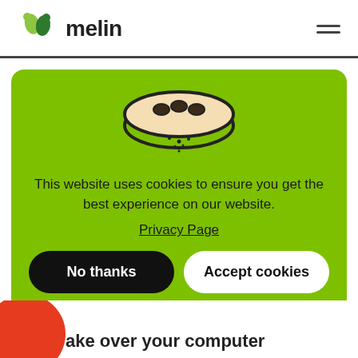melin
[Figure (screenshot): Cookie consent modal on green background with cookie icon, message, privacy page link, and two buttons: No thanks and Accept cookies]
This website uses cookies to ensure you get the best experience on our website.
Privacy Page
No thanks
Accept cookies
ake over your computer